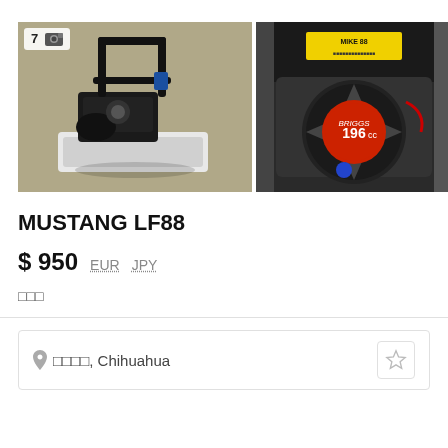[Figure (photo): Mustang LF88 plate compactor machine viewed from above on concrete ground]
[Figure (photo): Close-up of 196cc engine of the Mustang LF88 compactor]
[Figure (photo): Partial third image of the listing, cropped]
MUSTANG LF88
$ 950   EUR   JPY
□□□
📍 □□□□, Chihuahua